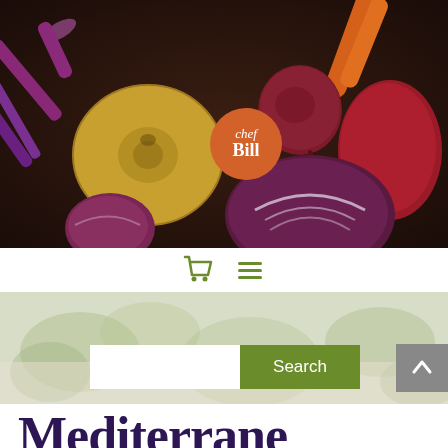[Figure (photo): Overhead close-up photo of colorful root vegetables on a dark wooden surface: a golden turnip, red beets, radicchio/red cabbage, purple carrots, and orange carrots]
[Figure (logo): Circular orange badge with white text reading 'chef Bill' — the Chef Bill logo]
[Figure (screenshot): Navigation bar with green shopping cart icon and green hamburger menu icon on a semi-transparent white background]
[Figure (photo): Faded/washed-out background image of green leafy vegetables (appears to be lettuce or herbs) on a light wooden surface, used as banner background]
[Figure (screenshot): Search widget: white input box next to a green 'Search' button]
[Figure (screenshot): Gray scroll-to-top button with upward-pointing chevron arrow on the right side]
Mediterranean